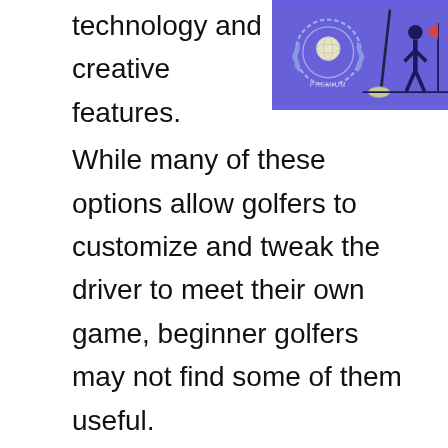technology and creative features.
[Figure (illustration): Golf premium illustration on purple/blue background showing a golf club, golf ball, and golfer silhouettes with a badge/seal and the word PREMIUM]
While many of these options allow golfers to customize and tweak the driver to meet their own game, beginner golfers may not find some of them useful.
Amateur golfers are looking for drivers that are extremely forgiving and reduce extra sidespin. As a result, the best golf drivers for Amatuer golfers will be one that prioritizes shot forgiveness over